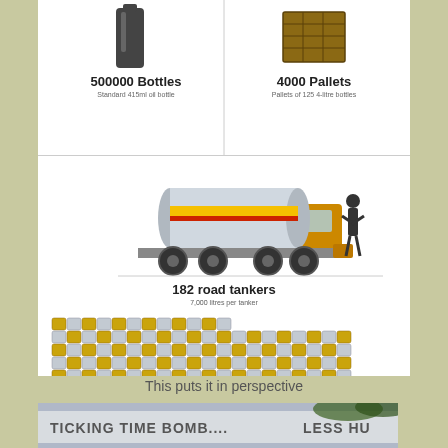[Figure (infographic): Infographic showing 500000 Bottles (Standard 415ml oil bottle) and 4000 Pallets (Pallets of 125 4-litre bottles)]
[Figure (infographic): 182 road tankers (7,000 litres per tanker) shown with tanker truck image beside a human silhouette, and a large array of barrel/drum icons below]
This puts it in perspective
[Figure (photo): Photo of a billboard reading 'TICKING TIME BOMB.... LESS HU...' partially visible]